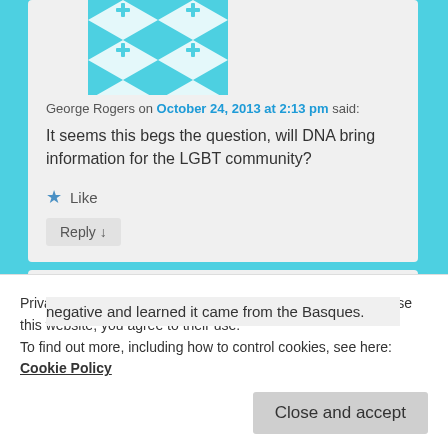[Figure (illustration): Teal/cyan geometric quilt-pattern avatar for George Rogers]
George Rogers on October 24, 2013 at 2:13 pm said:
It seems this begs the question, will DNA bring information for the LGBT community?
Like
Reply ↓
[Figure (illustration): Purple/magenta geometric quilt-pattern avatar for second commenter]
Privacy & Cookies: This site uses cookies. By continuing to use this website, you agree to their use.
To find out more, including how to control cookies, see here: Cookie Policy
Close and accept
negative and learned it came from the Basques.